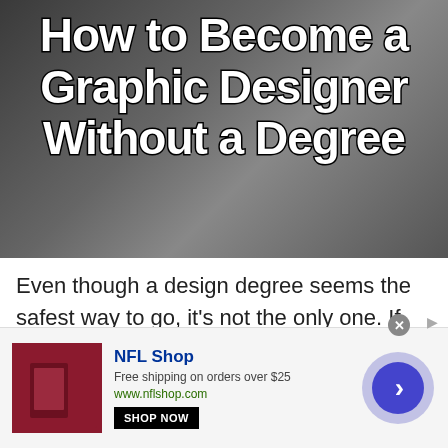[Figure (photo): A person working at a desk with design materials and a computer monitor in the background. Large bold white text overlaid on the image reads 'How to Become a Graphic Designer Without a Degree'.]
How to Become a Graphic Designer Without a Degree
Even though a design degree seems the safest way to go, it's not the only one. If you're looking to become a graphic designer without going to school, you're in the right
[Figure (infographic): Advertisement banner for NFL Shop. Shows an NFL Shop logo/image on the left, text 'NFL Shop', 'Free shipping on orders over $25', 'www.nflshop.com', a 'SHOP NOW' button, and a blue circular arrow button on the right.]